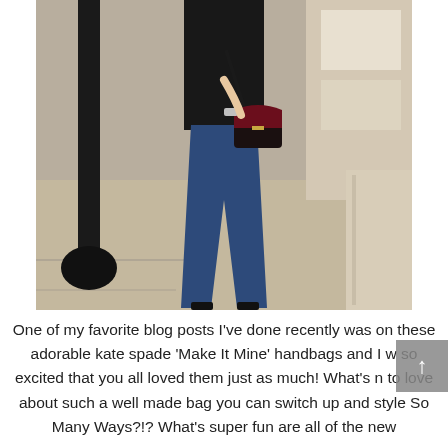[Figure (photo): A woman standing on a sidewalk wearing a black top, dark flare jeans, and black heels, carrying a dark crossbody bag with a burgundy/dark red flap. A black street pole is visible on the left side. A building facade is on the right. The setting appears to be an outdoor urban street.]
One of my favorite blog posts I've done recently was on these adorable kate spade 'Make It Mine' handbags and I w so excited that you all loved them just as much!  What's n to love about such a well made bag you can switch up and style So Many Ways?!?  What's super fun are all of the new